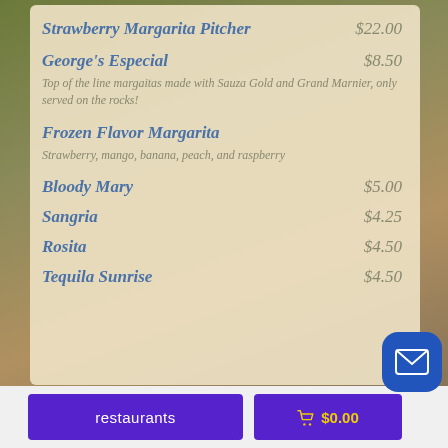Strawberry Margarita Pitcher $22.00
George's Especial $8.50
Top of the line margaitas made with Sauza Gold and Grand Marnier, only served on the rocks!
Frozen Flavor Margarita
Strawberry, mango, banana, peach, and raspberry
Bloody Mary $5.00
Sangria $4.25
Rosita $4.50
Tequila Sunrise $4.50
restaurants   🛒 $0.00